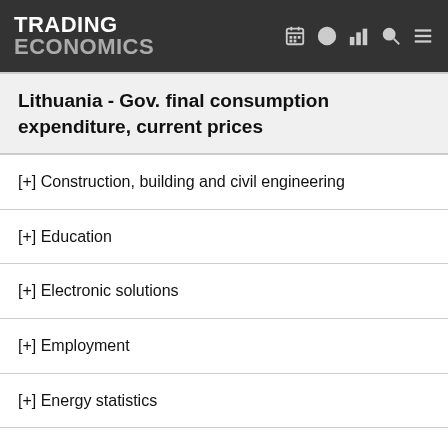TRADING ECONOMICS
Lithuania - Gov. final consumption expenditure, current prices
[+] Construction, building and civil engineering
[+] Education
[+] Electronic solutions
[+] Employment
[+] Energy statistics
[+] Final consumption expenditure of households and NPISH
[+] Financial sector liabilities
[+] GDP and main components